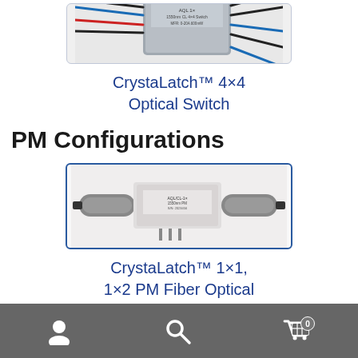[Figure (photo): Photo of CrystaLatch 4x4 optical switch device with multiple fiber cables attached, gray metal housing.]
CrystaLatch™ 4×4 Optical Switch
PM Configurations
[Figure (photo): Photo of CrystaLatch 1x1, 1x2 PM Fiber Optical switch - small rectangular component with two cylindrical connectors on each side.]
CrystaLatch™ 1×1, 1×2 PM Fiber Optical